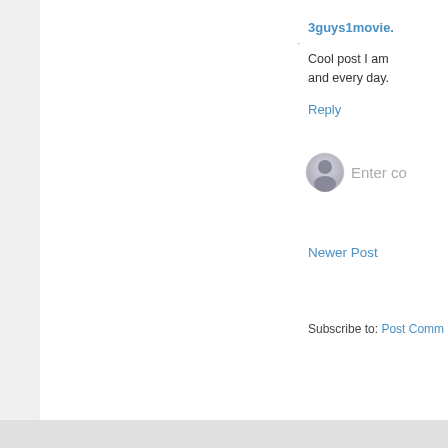3guys1movie.
Cool post I am and every day.
Reply
[Figure (illustration): User avatar circle with silhouette icon]
Enter co
Newer Post
Subscribe to: Post Comm